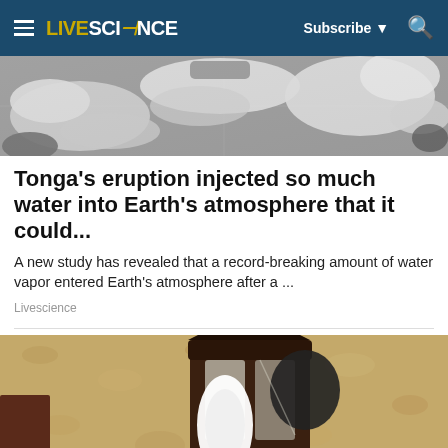LIVESCIENCE — Subscribe — Search
[Figure (photo): Satellite view of Earth showing cloud formations and land masses in grayscale]
Tonga's eruption injected so much water into Earth's atmosphere that it could...
A new study has revealed that a record-breaking amount of water vapor entered Earth's atmosphere after a ...
Livescience
[Figure (photo): Close-up photo of a dark lantern-style outdoor wall light with a white LED bulb, mounted on a textured beige stucco wall]